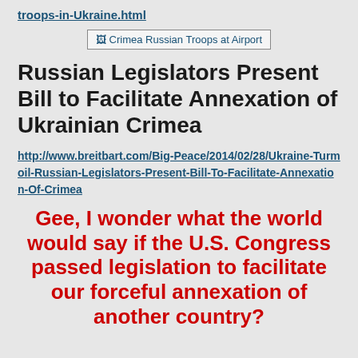troops-in-Ukraine.html
[Figure (photo): Crimea Russian Troops at Airport — broken image placeholder with link text]
Russian Legislators Present Bill to Facilitate Annexation of Ukrainian Crimea
http://www.breitbart.com/Big-Peace/2014/02/28/Ukraine-Turmoil-Russian-Legislators-Present-Bill-To-Facilitate-Annexation-Of-Crimea
Gee, I wonder what the world would say if the U.S. Congress passed legislation to facilitate our forceful annexation of another country?